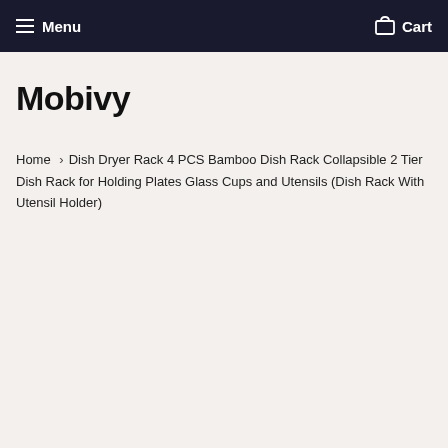Menu  Cart
Mobivy
Home › Dish Dryer Rack 4 PCS Bamboo Dish Rack Collapsible 2 Tier Dish Rack for Holding Plates Glass Cups and Utensils (Dish Rack With Utensil Holder)